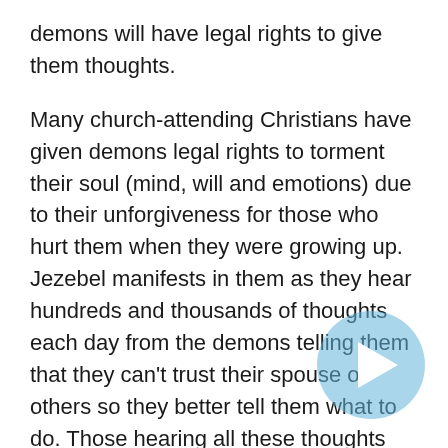demons will have legal rights to give them thoughts.
Many church-attending Christians have given demons legal rights to torment their soul (mind, will and emotions) due to their unforgiveness for those who hurt them when they were growing up. Jezebel manifests in them as they hear hundreds and thousands of thoughts each day from the demons telling them that they can't trust their spouse or others so they better tell them what to do. Those hearing all these thoughts would never discern that the thoughts are coming from demons. They are constantly critical of their victims (spouse, kids, others who don't do what they want), wanting to control and